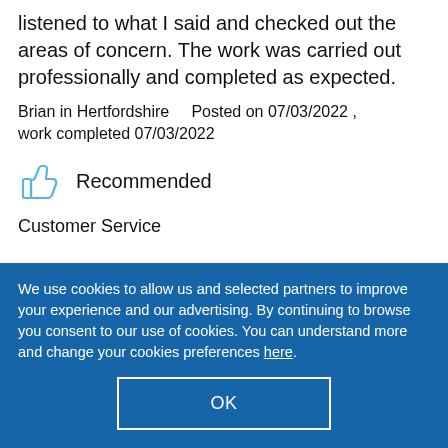listened to what I said and checked out the areas of concern. The work was carried out professionally and completed as expected.
Brian in Hertfordshire    Posted on 07/03/2022 , work completed 07/03/2022
Recommended
Customer Service
We use cookies to allow us and selected partners to improve your experience and our advertising. By continuing to browse you consent to our use of cookies. You can understand more and change your cookies preferences here.
OK